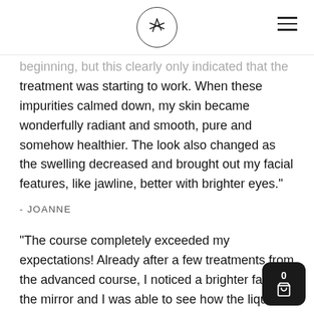[logo icon]
beginning, but this clearly only indicated that the treatment was starting to work. When these impurities calmed down, my skin became wonderfully radiant and smooth, pure and somehow healthier. The look also changed as the swelling decreased and brought out my facial features, like jawline, better with brighter eyes.”
- JOANNE
“The course completely exceeded my expectations! Already after a few treatments from the advanced course, I noticed a brighter face in the mirror and I was able to see how the liquids had moved from my cheeks. At first I thought I didnʼt have time for a course being a mother of a life, but this is no...